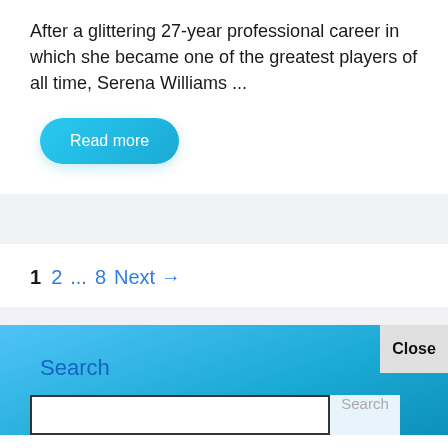After a glittering 27-year professional career in which she became one of the greatest players of all time, Serena Williams ...
Read more
1  2  ...  8  Next →
Search
Close